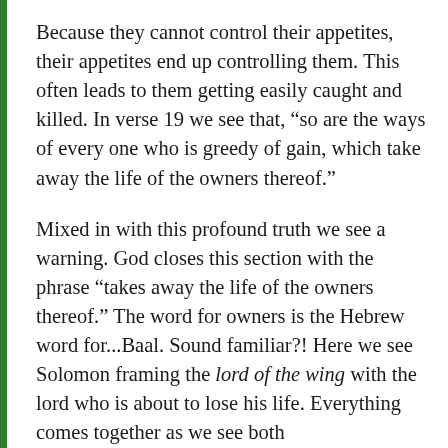Because they cannot control their appetites, their appetites end up controlling them. This often leads to them getting easily caught and killed. In verse 19 we see that, “so are the ways of every one who is greedy of gain, which take away the life of the owners thereof.”
Mixed in with this profound truth we see a warning. God closes this section with the phrase “takes away the life of the owners thereof.” The word for owners is the Hebrew word for…Baal. Sound familiar?! Here we see Solomon framing the lord of the wing with the lord who is about to lose his life. Everything comes together as we see both